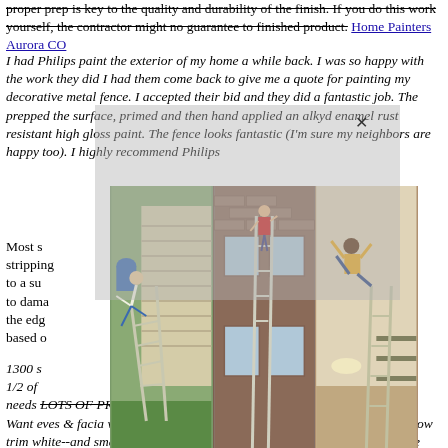proper prep is key to the quality and durability of the finish. If you do this work yourself, the contractor might no guarantee to finished product. Home Painters Aurora CO
I had Philips paint the exterior of my home a while back. I was so happy with the work they did I had them come back to give me a quote for painting my decorative metal fence. I accepted their bid and they did a fantastic job. The prepped the surface, primed and then hand applied an alkyd enamel rust resistant high gloss paint. The fence looks fantastic (I'm sure my neighbors are happy too). I highly recommend Philips
[Figure (photo): Three side-by-side photos showing people falling off ladders near houses, one indoor gymnastic fall scene]
Most s... or stripping... hered to a su... erable to dama... ooths the edg... ries based o...
1300 s... hill, 1/2 of... needs LOTS OF PREP WORK. Paint peeling & flaking off. Want eves & facia white--stucco bottom white--wood siding blue grey--window trim white--and small accents, window sash, and single garage door antique white. (Sherwin Williams paint design colors). 1 base coat, 2 finish coats.